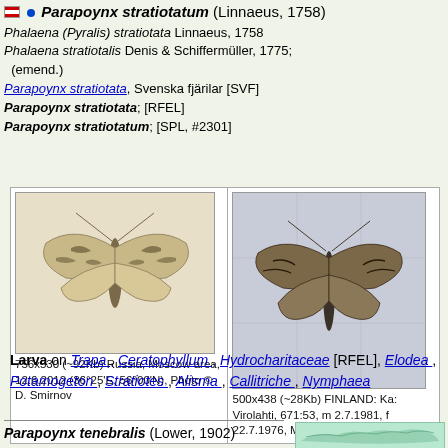Parapoynx stratiotatum (Linnaeus, 1758)
Phalaena (Pyralis) stratiotata Linnaeus, 1758
Phalaena stratiotalis Denis & Schiffermüller, 1775; (emend.)
Parapoynx stratiotata, Svenska fjärilar [SVF]
Parapoynx stratiotata; [RFEL]
Parapoynx stratiotatum; [SPL, #2301]
[Figure (photo): Two photographs of Parapoynx stratiotatum moths pinned for display. Left: dorsal view of specimen from Russia, Moscow area. Right: dorsal view of specimen from Finland, Virolahti.]
756x530 (~92Kb) Russia, Moscow area, 12.6.2012 (36°25'E, 56°00'N), Photo © D. Smirnov
500x438 (~28Kb) FINLAND: Ka: Virolahti, 671:53, m 2.7.1981, f 22.7.1976, Markku Savela leg.
Larva on Trapa, Ceratophyllum, Hydrocharitaceae [RFEL], Elodea, Potamogeton, Stratiotes, Alisma, Callitriche, Nymphaea
Parapoynx tenebralis (Lower, 1902)
Nymphula tenebralis Lower,